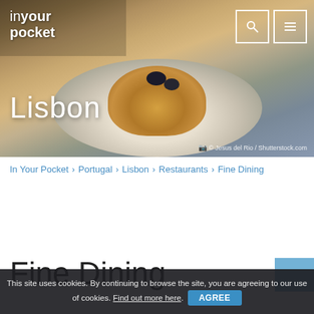[Figure (photo): Hero photograph of a gourmet fish dish plated on a white plate with green sauce and black olives, at a restaurant table. Lisbon city name overlaid in white text. In Your Pocket logo top left. Search and menu icons top right.]
in your pocket
© Jesus del Rio / Shutterstock.com
In Your Pocket › Portugal › Lisbon › Restaurants › Fine Dining
Fine Dining
This site uses cookies. By continuing to browse the site, you are agreeing to our use of cookies. Find out more here. AGREE